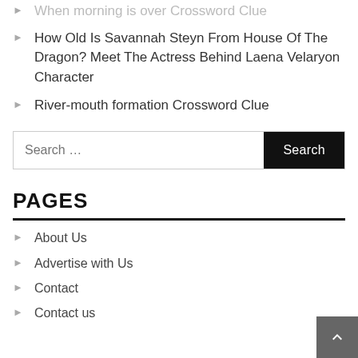When morning is over Crossword Clue
How Old Is Savannah Steyn From House Of The Dragon? Meet The Actress Behind Laena Velaryon Character
River-mouth formation Crossword Clue
PAGES
About Us
Advertise with Us
Contact
Contact us